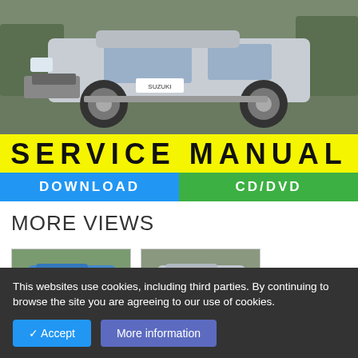[Figure (photo): Front quarter view of a silver Suzuki Jimny SUV parked outdoors, showing the grille, headlights, alloy wheels and front bumper. Gravel ground and trees in background.]
SERVICE MANUAL
DOWNLOAD   CD/DVD
MORE VIEWS
[Figure (photo): Thumbnail of a blue Suzuki Jimny with SERVICE MANUAL banner (Download / CD/DVD)]
[Figure (photo): Thumbnail of a silver Suzuki Jimny with SERVICE MANUAL banner (Download / CD/DVD)]
Vehicle brand : Suzuki
Model : Jimny Iii
This websites use cookies, including third parties. By continuing to browse the site you are agreeing to our use of cookies.